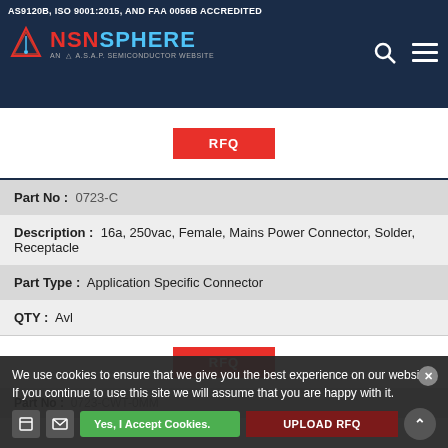AS9120B, ISO 9001:2015, AND FAA 0056B ACCREDITED
[Figure (logo): NSN Sphere logo - AN A.S.A.P. SEMICONDUCTOR WEBSITE with search and menu icons]
| Field | Value |
| --- | --- |
| Part No | 0723-C |
| Description | 16a, 250vac, Female, Mains Power Connector, Solder, Receptacle |
| Part Type | Application Specific Connector |
| QTY | Avl |
We use cookies to ensure that we give you the best experience on our website. If you continue to use this site we will assume that you are happy with it.
Yes, I Accept Cookies.
UPLOAD RFQ
Part No : 0723-CWT-0MM